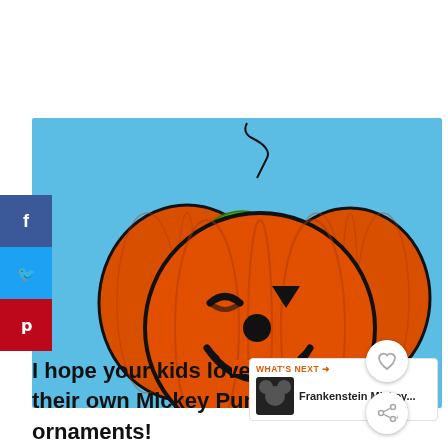[Figure (photo): Mickey Mouse shaped pumpkin ornament craft made from orange foam/paper circles arranged like Mickey's head with ears, with a glittery green leaf and brown stem on top, black glitter jack-o-lantern face, on a light blue background. Social sharing buttons (Facebook, Twitter, Pinterest) visible on left sidebar. Heart and share icons on bottom right.]
I hope your kids love getting to make their own Mickey Pumpkin Head ornaments!